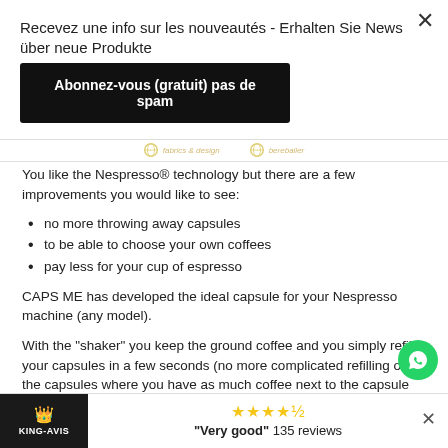Recevez une info sur les nouveautés - Erhalten Sie News über neue Produkte
Abonnez-vous (gratuit) pas de spam
You like the Nespresso® technology but there are a few improvements you would like to see:
no more throwing away capsules
to be able to choose your own coffees
pay less for your cup of espresso
CAPS ME has developed the ideal capsule for your Nespresso machine (any model).
With the "shaker" you keep the ground coffee and you simply refill your capsules in a few seconds (no more complicated refilling of the capsules where you have as much coffee next to the capsule as inside).
"Very good" 135 reviews